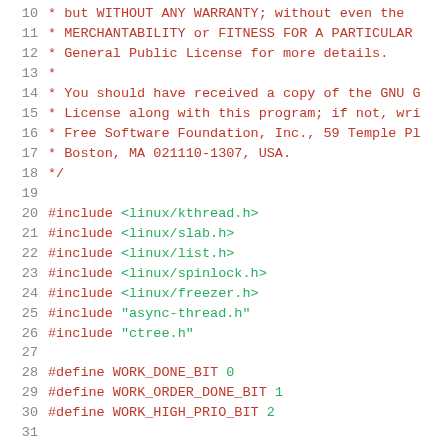Source code listing showing C file with license comment and preprocessor directives, lines 10-31
10:  * but WITHOUT ANY WARRANTY; without even the
11:  * MERCHANTABILITY or FITNESS FOR A PARTICULAR
12:  * General Public License for more details.
13:  *
14:  * You should have received a copy of the GNU G
15:  * License along with this program; if not, wri
16:  * Free Software Foundation, Inc., 59 Temple Pl
17:  * Boston, MA 021110-1307, USA.
18:  */
19:
20:  #include <linux/kthread.h>
21:  #include <linux/slab.h>
22:  #include <linux/list.h>
23:  #include <linux/spinlock.h>
24:  #include <linux/freezer.h>
25:  #include "async-thread.h"
26:  #include "ctree.h"
27:
28:  #define WORK_DONE_BIT 0
29:  #define WORK_ORDER_DONE_BIT 1
30:  #define WORK_HIGH_PRIO_BIT 2
31: